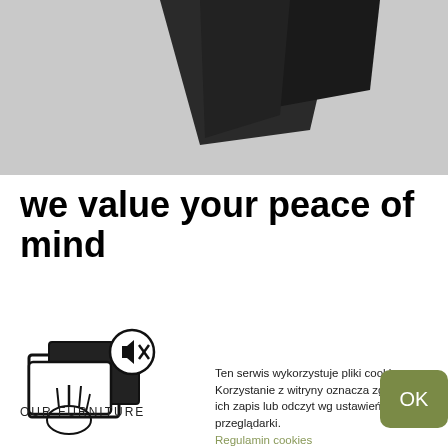[Figure (photo): Close-up photograph of a dark geometric furniture piece/shelf bracket against a light grey textured wall background]
we value your peace of mind
[Figure (illustration): Icon illustration of hands/fingers pressing or swiping a card with arrows indicating motion, and a muted speaker icon with an X in a circle overlay]
OUR FURNITURE
Ten serwis wykorzystuje pliki cookies. Korzystanie z witryny oznacza zgodę na ich zapis lub odczyt wg ustawień przeglądarki. Regulamin cookies
OK